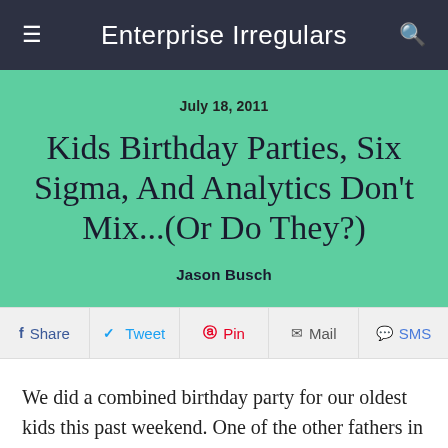Enterprise Irregulars
July 18, 2011
Kids Birthday Parties, Six Sigma, And Analytics Don't Mix...(Or Do They?)
Jason Busch
Share  Tweet  Pin  Mail  SMS
We did a combined birthday party for our oldest kids this past weekend. One of the other fathers in the group, who served as a chaperone for the party, has a similar finance,